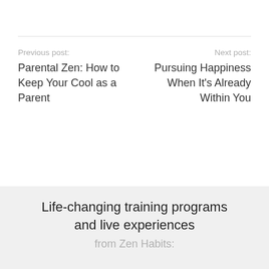Previous post: Parental Zen: How to Keep Your Cool as a Parent
Next post: Pursuing Happiness When It's Already Within You
Life-changing training programs and live experiences
from Zen Habits: